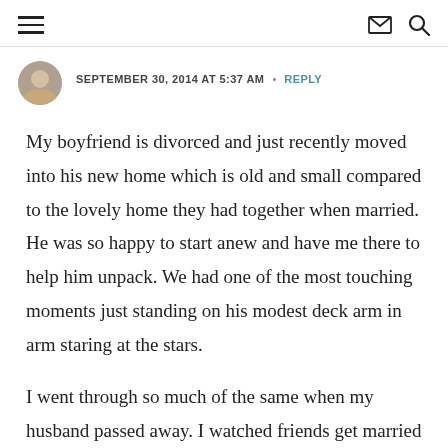≡  ✉ 🔍
SEPTEMBER 30, 2014 AT 5:37 AM  •  REPLY
My boyfriend is divorced and just recently moved into his new home which is old and small compared to the lovely home they had together when married. He was so happy to start anew and have me there to help him unpack. We had one of the most touching moments just standing on his modest deck arm in arm staring at the stars.
I went through so much of the same when my husband passed away. I watched friends get married and move into huge homes while I was in my modest abode.